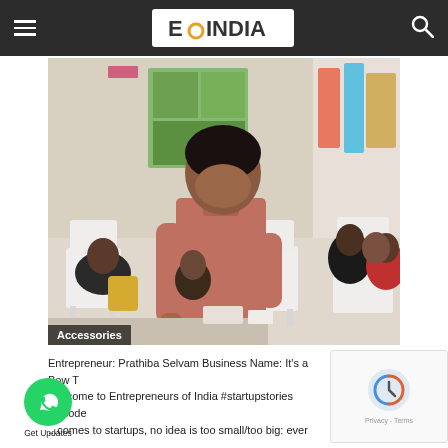EQ INDIA
[Figure (photo): A young woman in a pink top leaning over a table at what appears to be a market or exhibition event. Several people are seated and standing in the background inside a room with colorful clothing on display.]
Accessories
Entrepreneur: Prathiba Selvam Business Name: It's a Bow T... Welcome to Entrepreneurs of India #startupstories episode... ...comes to startups, no idea is too small/too big: ever...